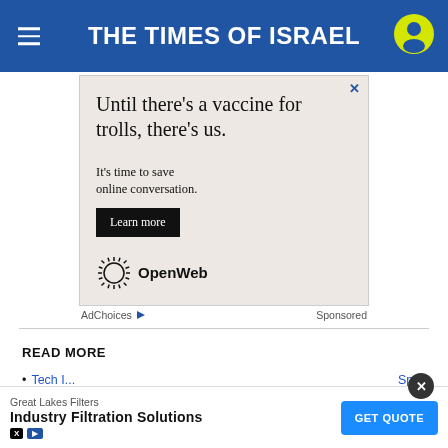THE TIMES OF ISRAEL
[Figure (other): Advertisement banner: 'Until there's a vaccine for trolls, there's us. It's time to save online conversation. Learn more. OpenWeb']
AdChoices  Sponsored
READ MORE
Tech I... Spain
[Figure (other): Bottom ad bar: Great Lakes Filters – Industry Filtration Solutions – GET QUOTE]